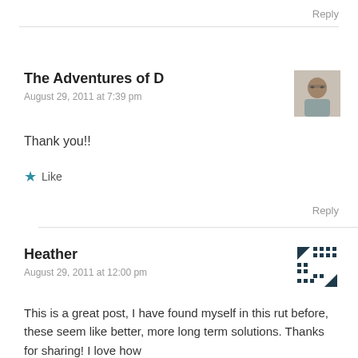Reply
The Adventures of D
August 29, 2011 at 7:39 pm
[Figure (photo): Avatar photo of The Adventures of D commenter – person wearing glasses]
Thank you!!
Like
Reply
Heather
August 29, 2011 at 12:00 pm
[Figure (illustration): Pixel/dot pattern avatar icon for Heather]
This is a great post, I have found myself in this rut before, these seem like better, more long term solutions. Thanks for sharing! I love how